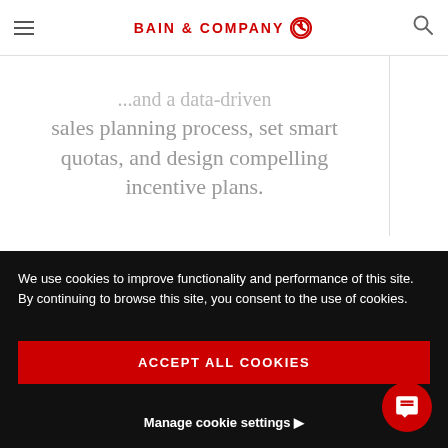BAIN & COMPANY
sales planning process, set smart quotas, and design compelling incentive plans.
[Figure (other): Carousel navigation dots: one red active dot and three grey inactive dots]
Insights
We use cookies to improve functionality and performance of this site. By continuing to browse this site, you consent to the use of cookies.
ACCEPT ALL COOKIES
Manage cookie settings ▶